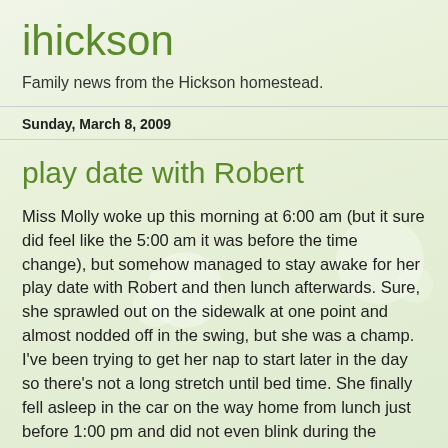ihickson
Family news from the Hickson homestead.
Sunday, March 8, 2009
play date with Robert
Miss Molly woke up this morning at 6:00 am (but it sure did feel like the 5:00 am it was before the time change), but somehow managed to stay awake for her play date with Robert and then lunch afterwards. Sure, she sprawled out on the sidewalk at one point and almost nodded off in the swing, but she was a champ. I've been trying to get her nap to start later in the day so there's not a long stretch until bed time. She finally fell asleep in the car on the way home from lunch just before 1:00 pm and did not even blink during the transfer to her bed when we got home. Hopefully this will reset her for the rest of the week, if it even results it...